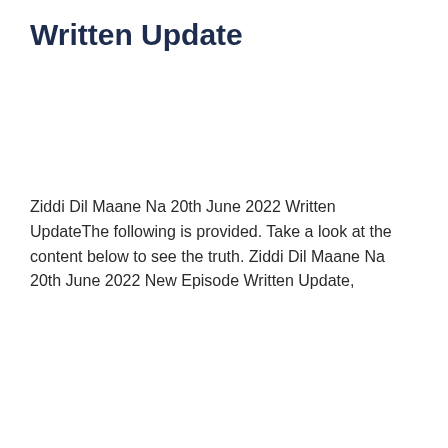Written Update
Ziddi Dil Maane Na 20th June 2022 Written UpdateThe following is provided. Take a look at the content below to see the truth. Ziddi Dil Maane Na 20th June 2022 New Episode Written Update,